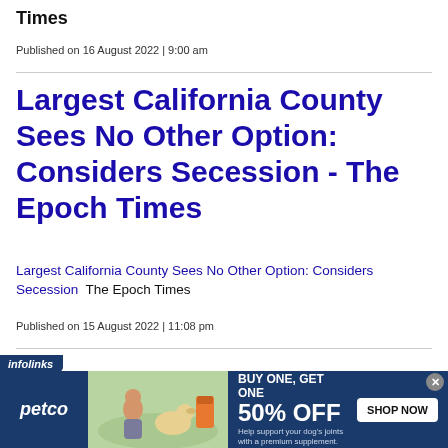Times
Published on 16 August 2022 | 9:00 am
Largest California County Sees No Other Option: Considers Secession - The Epoch Times
Largest California County Sees No Other Option: Considers Secession  The Epoch Times
Published on 15 August 2022 | 11:08 pm
[Figure (other): Petco advertisement banner with infolinks label, showing a woman with a dog and supplement product, promoting Buy One Get One 50% Off with Shop Now button]